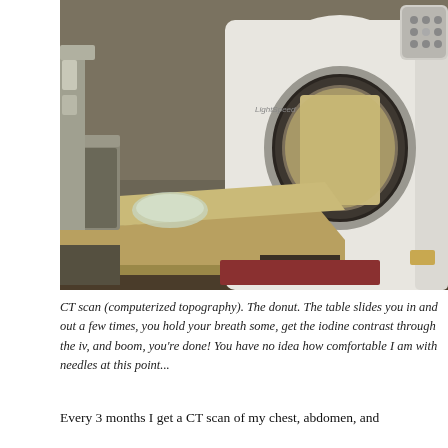[Figure (photo): Photograph of a CT scan machine (the donut-shaped gantry) with a patient table extended in front of it. The machine is white and large with a circular opening. Medical equipment and a trash bin are visible in the background.]
CT scan (computerized topography). The donut. The table slides you in and out a few times, you hold your breath some, get the iodine contrast through the iv, and boom, you're done! You have no idea how comfortable I am with needles at this point...
Every 3 months I get a CT scan of my chest, abdomen, and